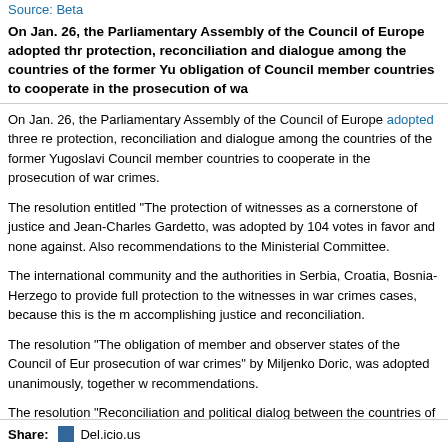Source: Beta
On Jan. 26, the Parliamentary Assembly of the Council of Europe adopted three resolutions on witness protection, reconciliation and dialogue among the countries of the former Yugoslavia, and on the obligation of Council member countries to cooperate in the prosecution of war crimes.
On Jan. 26, the Parliamentary Assembly of the Council of Europe adopted three resolutions on witness protection, reconciliation and dialogue among the countries of the former Yugoslavia, and on the obligation of Council member countries to cooperate in the prosecution of war crimes.
The resolution entitled "The protection of witnesses as a cornerstone of justice and reconciliation" by Jean-Charles Gardetto, was adopted by 104 votes in favor and none against. Also adopted were the recommendations to the Ministerial Committee.
The international community and the authorities in Serbia, Croatia, Bosnia-Herzegovina and others need to provide full protection to the witnesses in war crimes cases, because this is the most important step in accomplishing justice and reconciliation.
The resolution "The obligation of member and observer states of the Council of Europe to cooperate in the prosecution of war crimes" by Miljenko Doric, was adopted unanimously, together with the accompanying recommendations.
The resolution "Reconciliation and political dialog between the countries of the former Yugoslavia" by Pietro Marcenaro, was adopted unanimously with 110 in favor, also with the accompanying recommendations.
The three resolutions on countries of the former Yugoslavia were adopted after a joint debate, which were also addressed by Serbian President Boris Tadic.
Share: Del.icio.us Digg